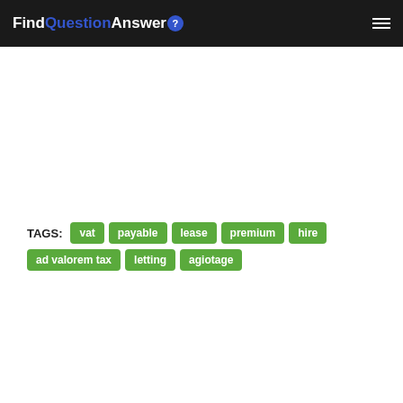FindQuestionAnswer
TAGS: vat payable lease premium hire ad valorem tax letting agiotage